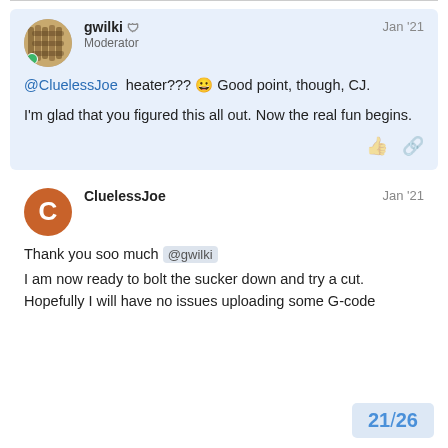gwilki [shield] Moderator — Jan '21
@CluelessJoe heater??? 😀 Good point, though, CJ.
I'm glad that you figured this all out. Now the real fun begins.
CluelessJoe — Jan '21
Thank you soo much @gwilki
I am now ready to bolt the sucker down and try a cut. Hopefully I will have no issues uploading some G-code
21/26